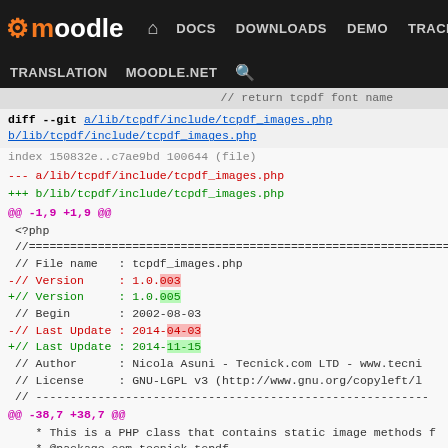moodle DOCS DOWNLOADS DEMO TRACKER DEV TRANSLATION MOODLE.NET
// return tcpdf font name
diff --git a/lib/tcpdf/include/tcpdf_images.php b/lib/tcpdf/include/tcpdf_images.php
index 150832e..c7ae9bd 100644 (file)
--- a/lib/tcpdf/include/tcpdf_images.php
+++ b/lib/tcpdf/include/tcpdf_images.php
@@ -1,9 +1,9 @@
 <?php
 //===========================================================================
 // File name : tcpdf_images.php
-// Version : 1.0.003
+// Version : 1.0.005
 // Begin : 2002-08-03
-// Last Update : 2014-04-03
+// Last Update : 2014-11-15
 // Author : Nicola Asuni - Tecnick.com LTD - www.tecni
 // License : GNU-LGPL v3 (http://www.gnu.org/copyleft/l
 // ---------------------------------------------------------
@@ -38,7 +38,7 @@
 * This is a PHP class that contains static image methods f
 * @package com.tecnick.tcpdf
 * @author Nicola Asuni
-* @version 1.0.003
+* @version 1.0.005
 */